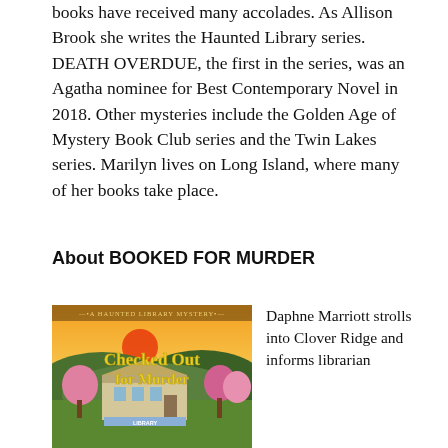books have received many accolades. As Allison Brook she writes the Haunted Library series. DEATH OVERDUE, the first in the series, was an Agatha nominee for Best Contemporary Novel in 2018. Other mysteries include the Golden Age of Mystery Book Club series and the Twin Lakes series. Marilyn lives on Long Island, where many of her books take place.
About BOOKED FOR MURDER
[Figure (illustration): Book cover of 'Checked Out for Murder' — A Haunted Library Mystery, showing a sunset landscape with a library building, pink flowering trees, and yellow title text.]
Daphne Marriott strolls into Clover Ridge and informs librarian